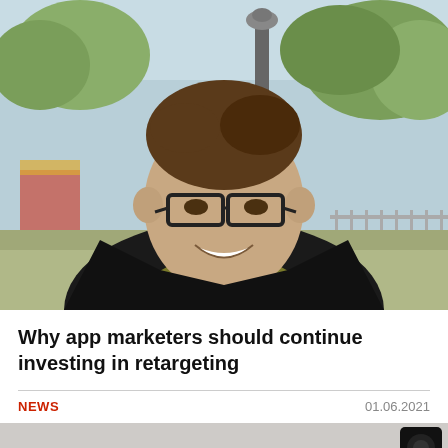[Figure (photo): Smiling man with glasses and dark jacket over olive sweater, standing outdoors in a park-like setting with trees and a lamp post in the background]
Why app marketers should continue investing in retargeting
NEWS
01.06.2021
[Figure (photo): Partial view of a smartphone]